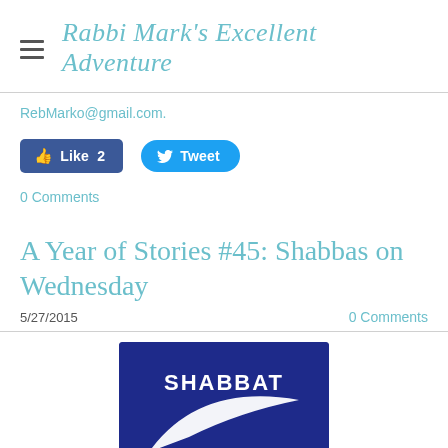Rabbi Mark's Excellent Adventure
RebMarko@gmail.com.
[Figure (screenshot): Facebook Like button (count: 2) and Twitter Tweet button]
0 Comments
A Year of Stories #45: Shabbas on Wednesday
5/27/2015    0 Comments
[Figure (photo): Nike-style dark blue badge with white swoosh and text 'SHABBAT' above, with 'Just Do It' text below in dark blue.]